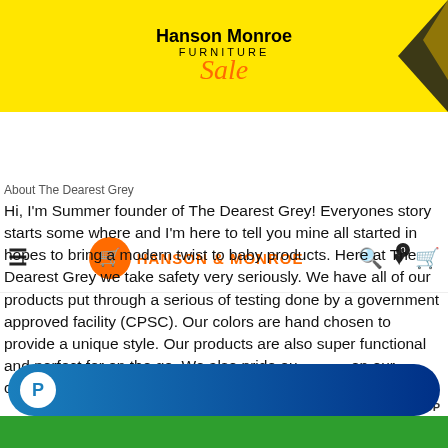[Figure (logo): Hanson Monroe Furniture Sale banner ad with yellow background, black bold text 'Hanson Monroe', uppercase 'FURNITURE', orange italic 'Sale', and decorative arrow in top right corner]
[Figure (logo): Hanson & Monroe website navigation bar with hamburger menu, orange shopping cart logo, 'HANSON & MONROE' text, search icon, heart with badge 0, and cart icon]
About The Dearest Grey
Hi, I'm Summer founder of The Dearest Grey! Everyones story starts some where and I'm here to tell you mine all started in hopes to bring a modern twist to baby products. Here at The Dearest Grey we take safety very seriously. We have all of our products put through a serious of testing done by a government approved facility (CPSC). Our colors are hand chosen to provide a unique style. Our products are also super functional and perfect for on the go. We also pride ourselves on our customer service. Check us out on Instagram! @th
[Figure (screenshot): PayPal payment button — rounded dark blue gradient pill shape with white PayPal P logo icon on left]